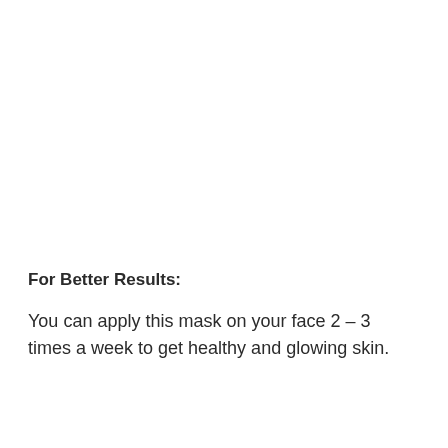For Better Results:
You can apply this mask on your face 2 – 3 times a week to get healthy and glowing skin.